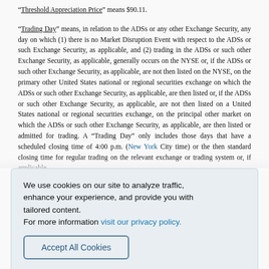“Threshold Appreciation Price” means $90.11.
“Trading Day” means, in relation to the ADSs or any other Exchange Security, any day on which (1) there is no Market Disruption Event with respect to the ADSs or such Exchange Security, as applicable, and (2) trading in the ADSs or such other Exchange Security, as applicable, generally occurs on the NYSE or, if the ADSs or such other Exchange Security, as applicable, are not then listed on the NYSE, on the primary other United States national or regional securities exchange on which the ADSs or such other Exchange Security, as applicable, are then listed or, if the ADSs or such other Exchange Security, as applicable, are not then listed on a United States national or regional securities exchange, on the principal other market on which the ADSs or such other Exchange Security, as applicable, are then listed or admitted for trading. A “Trading Day” only includes those days that have a scheduled closing time of 4:00 p.m. (New York City time) or the then standard closing time for regular trading on the relevant exchange or trading system or, if applicable,
We use cookies on our site to analyze traffic, enhance your experience, and provide you with tailored content.
For more information visit our privacy policy.
Accept All Cookies